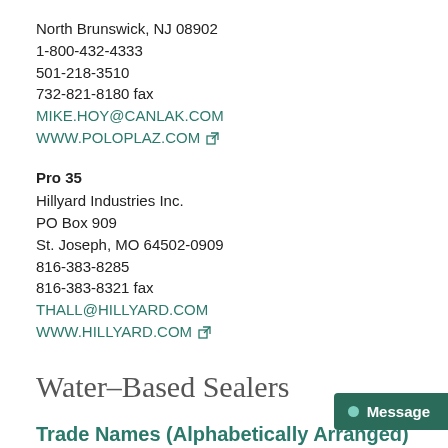North Brunswick, NJ 08902
1-800-432-4333
501-218-3510
732-821-8180 fax
MIKE.HOY@CANLAK.COM
WWW.POLOPLAZ.COM
Pro 35
Hillyard Industries Inc.
PO Box 909
St. Joseph, MO 64502-0909
816-383-8285
816-383-8321 fax
THALL@HILLYARD.COM
WWW.HILLYARD.COM
Water-Based Sealers
Trade Names (Alphabetically Arranged)
Arena 50 Sanding Sealer
Buckeye International, Inc.
2700 Wagner Place
Manchest Heights, MO 63042